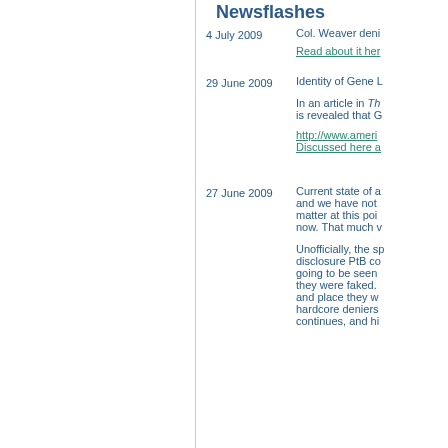Newsflashes
4 July 2009
Col. Weaver deni
Read about it her
29 June 2009
Identity of Gene L
In an article in Th is revealed that G
http://www.ameri Discussed here a
27 June 2009
Current state of a and we have not matter at this poi now. That much v
Unofficially, the sp disclosure PtB co going to be seen they were faked. and place they w hardcore deniers continues, and hi